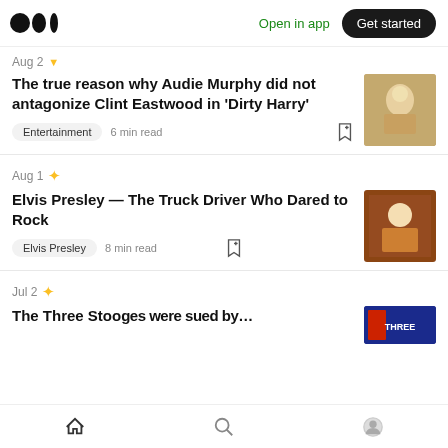Medium logo | Open in app | Get started
Aug 2 ▼
The true reason why Audie Murphy did not antagonize Clint Eastwood in 'Dirty Harry'
Entertainment  6 min read
Aug 1 ✦
Elvis Presley — The Truck Driver Who Dared to Rock
Elvis Presley  8 min read
Jul 2 ✦
The Three Stooges were sued by…